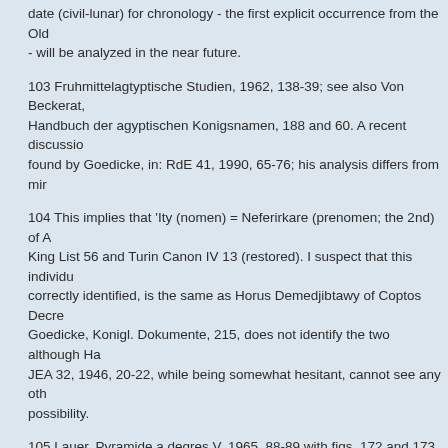date (civil-lunar) for chronology - the first explicit occurrence from the Old - will be analyzed in the near future.
103 Fruhmittelagtyptische Studien, 1962, 138-39; see also Von Beckerat, Handbuch der agyptischen Konigsnamen, 188 and 60. A recent discussion found by Goedicke, in: RdE 41, 1990, 65-76; his analysis differs from min
104 This implies that 'Ity (nomen) = Neferirkare (prenomen; the 2nd) of A King List 56 and Turin Canon IV 13 (restored). I suspect that this individu correctly identified, is the same as Horus Demedjibtawy of Coptos Decre Goedicke, Konigl. Dokumente, 215, does not identify the two although Ha JEA 32, 1946, 20-22, while being somewhat hesitant, cannot see any oth possibility.
105 Lauer, Pyramide a degres V, 1965, 88-89 with figs. 172 and 173.
106 ZAS 106, 1979, 127-28; see now Roth, Egyptian Phyles in the Old K 177-79 and the texts on page 223 (her H: 1 and H: 3); see the use of tnw bovine following): the cattle count is this early.
107 See the references in note 13 above.
108 St. Smith, CAH21, Chapter XIV, 41 (= CAH31, 183): completed by N and Niuserre.